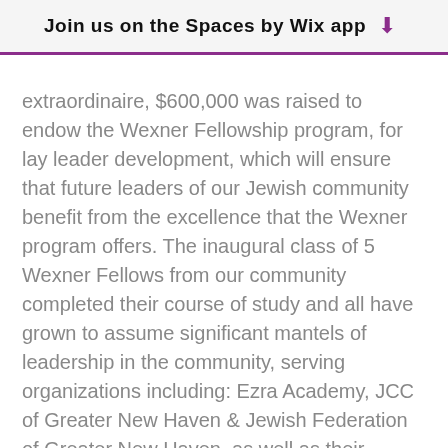Join us on the Spaces by Wix app
extraordinaire, $600,000 was raised to endow the Wexner Fellowship program, for lay leader development, which will ensure that future leaders of our Jewish community benefit from the excellence that the Wexner program offers. The inaugural class of 5 Wexner Fellows from our community completed their course of study and all have grown to assume significant mantels of leadership in the community, serving organizations including: Ezra Academy, JCC of Greater New Haven & Jewish Federation of Greater New Haven, as well as their synagogue communities.
As we said shalom to Sydney, we welcomed Judy Alperin as our new CEO. Judy hit the ground running on a